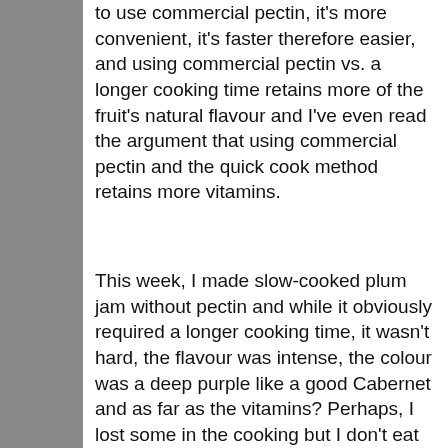to use commercial pectin, it's more convenient, it's faster therefore easier, and using commercial pectin vs. a longer cooking time retains more of the fruit's natural flavour and I've even read the argument that using commercial pectin and the quick cook method retains more vitamins.
This week, I made slow-cooked plum jam without pectin and while it obviously required a longer cooking time, it wasn't hard, the flavour was intense, the colour was a deep purple like a good Cabernet and as far as the vitamins? Perhaps, I lost some in the cooking but I don't eat jam for health benefits. The jam is thick and not at all gelatinous, I have to say that it's the best jam that I've ever made. I'm on a roll now. This week, I'll be making an apple jelly with vanilla which I can use as pectin for other jams if I choose.
Fruit varies season to season of course depending on the weather, so making good jam becomes an art like making wine. With time and practice, I hope to become more skilled in the craft